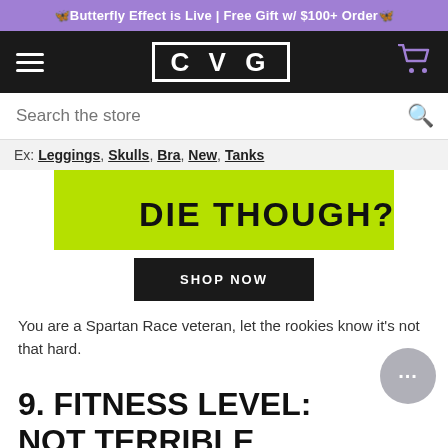🦋Butterfly Effect is Live | Free Gift w/ $100+ Order🦋
[Figure (logo): CVG logo in white text inside a white-bordered rectangle on black background, with hamburger menu icon on the left and purple shopping cart icon on the right]
Search the store
Ex: Leggings, Skulls, Bra, New, Tanks
[Figure (photo): Lime green athletic apparel with bold black text reading 'DIE THOUGH?' partially visible]
SHOP NOW
You are a Spartan Race veteran, let the rookies know it's not that hard.
9. FITNESS LEVEL: NOT TERRIBLE